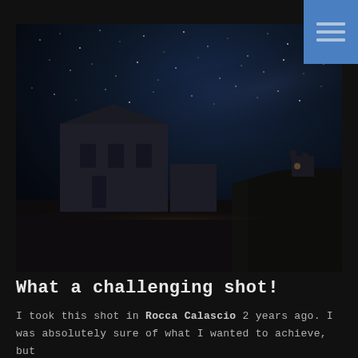[Figure (photo): Night photography of a historic church building at Rocca Calascio, Italy, with a starry sky and faint Milky Way visible overhead. A small castle or ruins appear on a rocky hill in the right background. The scene is very dark with the white stone architecture dimly lit.]
What a challenging shot!
I took this shot in Rocca Calascio 2 years ago. I was absolutely sure of what I wanted to achieve, but